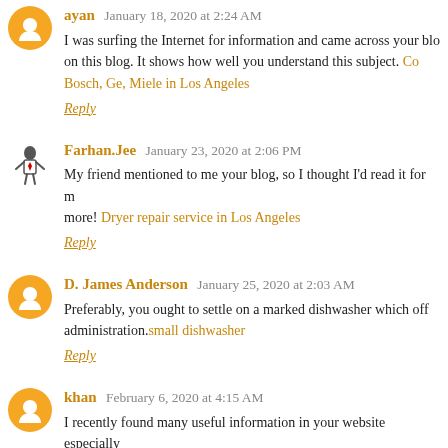ayan January 18, 2020 at 2:24 AM — I was surfing the Internet for information and came across your blog on this blog. It shows how well you understand this subject. Co... Bosch, Ge, Miele in Los Angeles — Reply
Farhan.Jee January 23, 2020 at 2:06 PM — My friend mentioned to me your blog, so I thought I'd read it for more! Dryer repair service in Los Angeles — Reply
D. James Anderson January 25, 2020 at 2:03 AM — Preferably, you ought to settle on a marked dishwasher which off... administration.small dishwasher — Reply
khan February 6, 2020 at 4:15 AM — I recently found many useful information in your website especially your articles. Thanks for sharing. Viking, Bosch, KitchenAid, LG D... — Reply